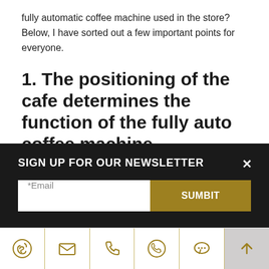fully automatic coffee machine used in the store? Below, I have sorted out a few important points for everyone.
1. The positioning of the cafe determines the function of the fully auto coffee machine
The positioning of the cafe is very important, which determines the products and automatic coffee machine equipment to be prepared later.
"What do you want to sell?" This is a priority issue. Is it a
SIGN UP FOR OUR NEWSLETTER
*Email
SUMBIT
[Figure (infographic): Bottom navigation icon bar with six icons: Skype, email/envelope, phone, WhatsApp, chat/speech bubble, and an up-arrow scroll button on a grey background. Icons are gold/olive colored.]